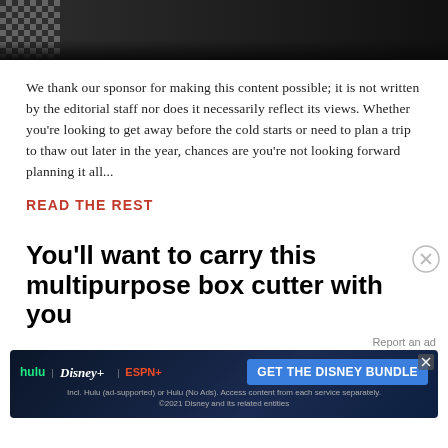[Figure (photo): Top portion of a photo showing a person's wrist with a checkered wristwatch against a dark background]
We thank our sponsor for making this content possible; it is not written by the editorial staff nor does it necessarily reflect its views. Whether you're looking to get away before the cold starts or need to plan a trip to thaw out later in the year, chances are you're not looking forward planning it all...
READ THE REST
You'll want to carry this multipurpose box cutter with you
Report an ad
[Figure (screenshot): Disney Bundle advertisement banner showing Hulu, Disney+, and ESPN+ logos with 'GET THE DISNEY BUNDLE' call to action button and fine print about Hulu ad-supported or No Ads options]